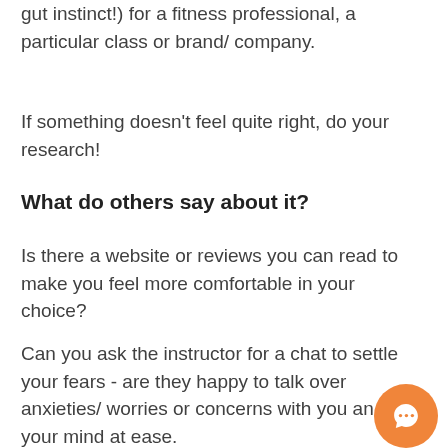gut instinct!) for a fitness professional, a particular class or brand/ company.
If something doesn't feel quite right, do your research!
What do others say about it?
Is there a website or reviews you can read to make you feel more comfortable in your choice?
Can you ask the instructor for a chat to settle your fears - are they happy to talk over anxieties/ worries or concerns with you and put your mind at ease.